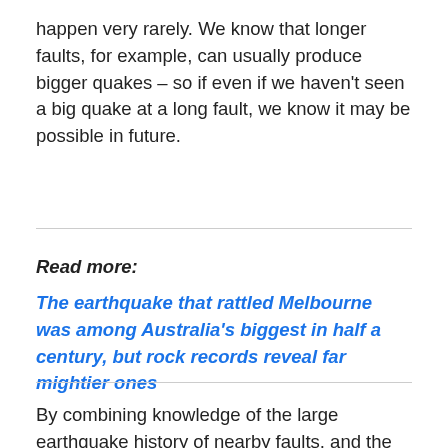happen very rarely. We know that longer faults, for example, can usually produce bigger quakes – so if even if we haven't seen a big quake at a long fault, we know it may be possible in future.
Read more:
The earthquake that rattled Melbourne was among Australia's biggest in half a century, but rock records reveal far mightier ones
By combining knowledge of the large earthquake history of nearby faults, and the level of activity of random, smaller